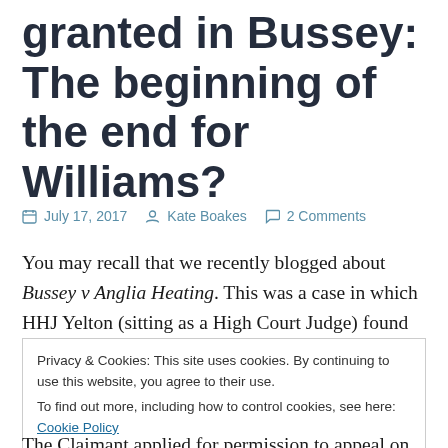granted in Bussey: The beginning of the end for Williams?
July 17, 2017   Kate Boakes   2 Comments
You may recall that we recently blogged about Bussey v Anglia Heating. This was a case in which HHJ Yelton (sitting as a High Court Judge) found that between 1965 and 1968 the Claimant's husband had been exposed to
Privacy & Cookies: This site uses cookies. By continuing to use this website, you agree to their use.
To find out more, including how to control cookies, see here: Cookie Policy
The Claimant applied for permission to appeal on the